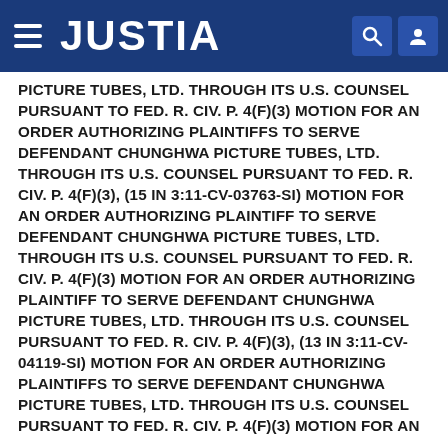JUSTIA
PICTURE TUBES, LTD. THROUGH ITS U.S. COUNSEL PURSUANT TO FED. R. CIV. P. 4(F)(3) MOTION FOR AN ORDER AUTHORIZING PLAINTIFFS TO SERVE DEFENDANT CHUNGHWA PICTURE TUBES, LTD. THROUGH ITS U.S. COUNSEL PURSUANT TO FED. R. CIV. P. 4(F)(3), (15 in 3:11-cv-03763-SI) MOTION FOR AN ORDER AUTHORIZING PLAINTIFF TO SERVE DEFENDANT CHUNGHWA PICTURE TUBES, LTD. THROUGH ITS U.S. COUNSEL PURSUANT TO FED. R. CIV. P. 4(F)(3) MOTION FOR AN ORDER AUTHORIZING PLAINTIFF TO SERVE DEFENDANT CHUNGHWA PICTURE TUBES, LTD. THROUGH ITS U.S. COUNSEL PURSUANT TO FED. R. CIV. P. 4(F)(3), (13 in 3:11-cv-04119-SI) MOTION FOR AN ORDER AUTHORIZING PLAINTIFFS TO SERVE DEFENDANT CHUNGHWA PICTURE TUBES, LTD. THROUGH ITS U.S. COUNSEL PURSUANT TO FED. R. CIV. P. 4(F)(3) MOTION FOR AN